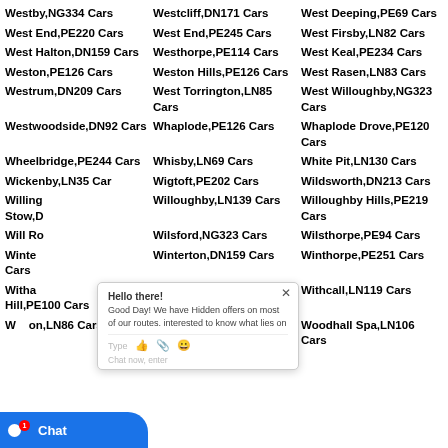Westby,NG334 Cars
Westcliff,DN171 Cars
West Deeping,PE69 Cars
West End,PE220 Cars
West End,PE245 Cars
West Firsby,LN82 Cars
West Halton,DN159 Cars
Westhorpe,PE114 Cars
West Keal,PE234 Cars
Weston,PE126 Cars
Weston Hills,PE126 Cars
West Rasen,LN83 Cars
Westrum,DN209 Cars
West Torrington,LN85 Cars
West Willoughby,NG323 Cars
Westwoodside,DN92 Cars
Whaplode,PE126 Cars
Whaplode Drove,PE120 Cars
Wheelbridge,PE244 Cars
Whisby,LN69 Cars
White Pit,LN130 Cars
Wickenby,LN35 Cars
Wigtoft,PE202 Cars
Wildsworth,DN213 Cars
Willingham by Stow,DN215 Cars
Willoughby,LN139 Cars
Willoughby Hills,PE219 Cars
Will Road
Wilsford,NG323 Cars
Wilsthorpe,PE94 Cars
Winterton,DN159 Cars
Winthorpe,PE251 Cars
Witham on the Hill,PE100 Cars
Witham St Hughs,LN69 Cars
Withcall,LN119 Cars
Woodhall on,LN86 Cars
Wood Enderby,PE227 Cars
Woodhall Spa,LN106 Cars